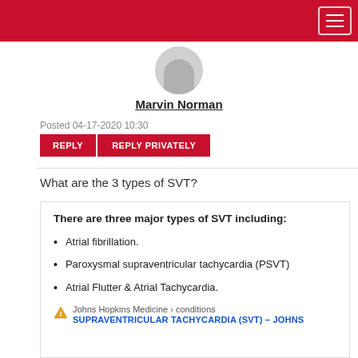[Figure (illustration): Gray silhouette avatar of a person (default user profile image)]
Marvin Norman
Posted 04-17-2020 10:30
REPLY   REPLY PRIVATELY
What are the 3 types of SVT?
There are three major types of SVT including:
Atrial fibrillation.
Paroxysmal supraventricular tachycardia (PSVT)
Atrial Flutter & Atrial Tachycardia.
Johns Hopkins Medicine › conditions
SUPRAVENTRICULAR TACHYCARDIA (SVT) – JOHNS